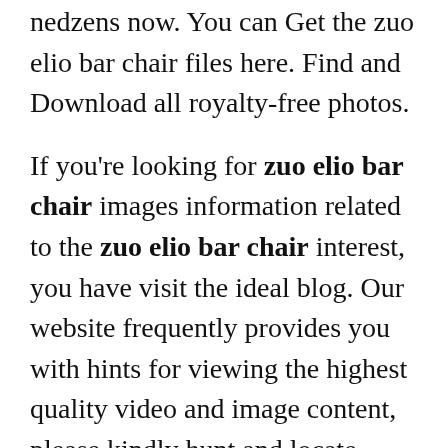nedzens now. You can Get the zuo elio bar chair files here. Find and Download all royalty-free photos.
If you're looking for zuo elio bar chair images information related to the zuo elio bar chair interest, you have visit the ideal blog. Our website frequently provides you with hints for viewing the highest quality video and image content, please kindly hunt and locate more enlightening video articles and graphics that match your interests.